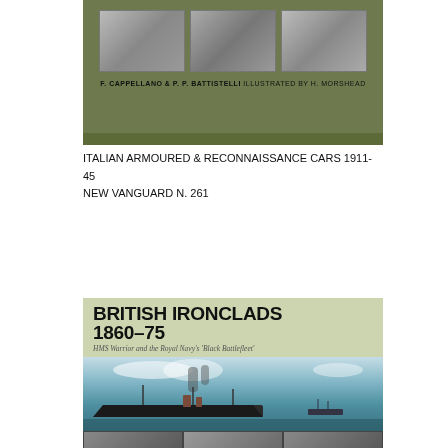[Figure (illustration): Book cover of 'Italian Armoured & Reconnaissance Cars 1911-45, New Vanguard N. 261' by F. Cappellano & P.P. Battistelli, illustrated by H. Morshead. Green cover with three black-and-white photographs of armoured cars across the top, and author/illustrator credit line below.]
ITALIAN ARMOURED & RECONNAISSANCE CARS 1911-45
NEW VANGUARD N. 261
[Figure (illustration): Book cover of 'British Ironclads 1860-75: HMS Warrior and the Royal Navy's Black Battlefleet'. Green cover with bold black title text at top on a lighter background, subtitle in italic below. Main image shows a painting of ironclad warships at sea with smoke from funnels. Bottom strip shows three small black-and-white photographs of ship details.]